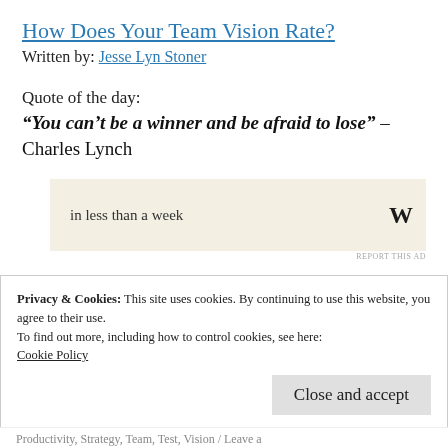How Does Your Team Vision Rate?
Written by: Jesse Lyn Stoner
Quote of the day:
“You can’t be a winner and be afraid to lose” – Charles Lynch
[Figure (other): Advertisement banner with text 'in less than a week' and a W logo on a beige background, with 'REPORT THIS AD' below]
Privacy & Cookies: This site uses cookies. By continuing to use this website, you agree to their use.
To find out more, including how to control cookies, see here:
Cookie Policy
Close and accept
Productivity, Strategy, Team, Test, Vision / Leave a